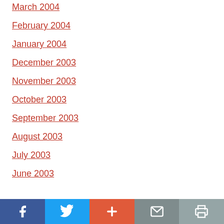March 2004
February 2004
January 2004
December 2003
November 2003
October 2003
September 2003
August 2003
July 2003
June 2003
Facebook | Twitter | + | Email | Print